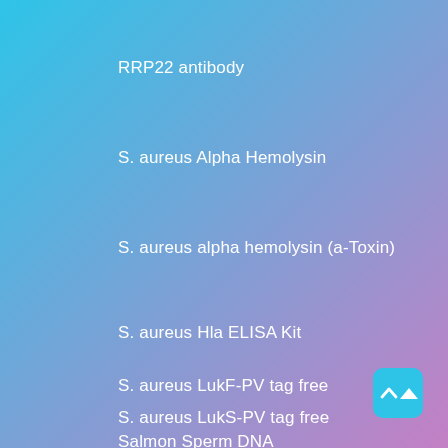RRP22 antibody
S. aureus Alpha Hemolysin
S. aureus alpha hemolysin (a-Toxin)
S. aureus Hla ELISA Kit
S. aureus LukF-PV tag free
S. aureus LukS-PV tag free
Salmon Sperm DNA